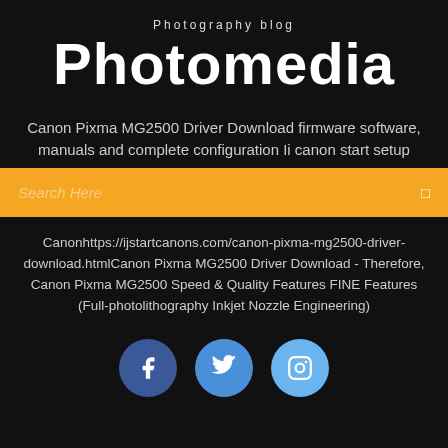Photography blog
Photomedia
Canon Pixma MG2500 Driver Download firmware software, manuals and complete configuration Ii canon start setup
Search Here
Canonhttps://ijstartcanons.com/canon-pixma-mg2500-driver-download.htmlCanon Pixma MG2500 Driver Download - Therefore, Canon Pixma MG2500 Speed & Quality Features FINE Features (Full-photolithography Inkjet Nozzle Engineering)
[Figure (illustration): Three social media icon circles: Facebook (dark blue), Twitter (medium blue), Instagram (light blue)]